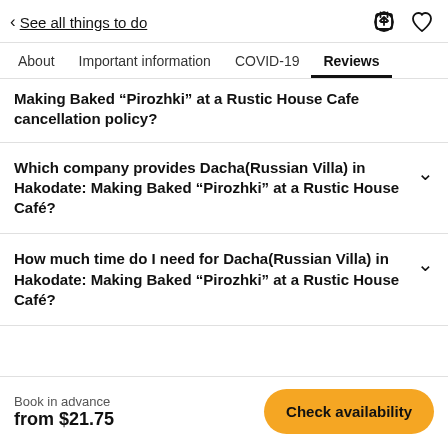< See all things to do
About  Important information  COVID-19  Reviews
Making Baked “Pirozhki” at a Rustic House Cafe cancellation policy?
Which company provides Dacha(Russian Villa) in Hakodate: Making Baked "Pirozhki" at a Rustic House Café?
How much time do I need for Dacha(Russian Villa) in Hakodate: Making Baked "Pirozhki" at a Rustic House Café?
Book in advance
from $21.75
Check availability